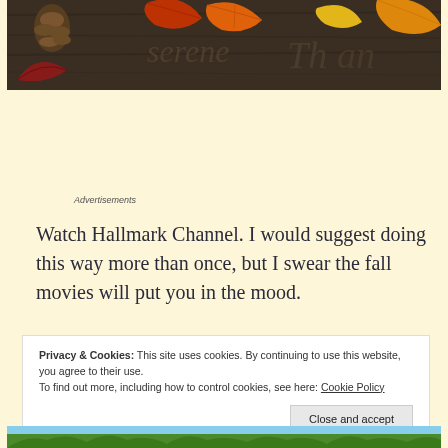[Figure (photo): Banner image showing autumn/fall theme with orange and red maple leaves, pine cones on a dark wood background with cursive text 'serene' and other words]
Advertisements
Watch Hallmark Channel. I would suggest doing this way more than once, but I swear the fall movies will put you in the mood.
Privacy & Cookies: This site uses cookies. By continuing to use this website, you agree to their use.
To find out more, including how to control cookies, see here: Cookie Policy
Close and accept
[Figure (photo): Bottom strip of image showing green plants/corn against a blue sky]